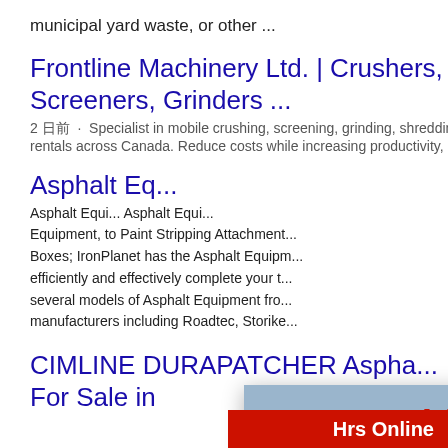municipal yard waste, or other ...
Frontline Machinery Ltd. | Crushers, Screeners, Grinders ...
2 日前 · Specialist in mobile crushing, screening, grinding, shredding and conveyor equipment sales and rentals across Canada. Reduce costs while increasing productivity,
Asphalt Eq...
Asphalt Equi... Asphalt Equi... Equipment, to Paint Stripping Attachment... Boxes; IronPlanet has the Asphalt Equipr... efficiently and effectively complete your t... several models of Asphalt Equipment fro... manufacturers including Roadtec, Storike...
CIMLINE DURAPATCHER Aspha... For Sale in
[Figure (screenshot): Live Chat popup overlay showing construction workers in yellow hard hats, LIVE CHAT heading in red italic, 'Click for a Free Consultation' text, and two buttons: 'Chat now' (red) and 'Chat later' (dark gray)]
[Figure (screenshot): Right-side ad panel showing 'Hrs Online' red bar, a female customer service agent with headset, 'Need questions & suggestion?' text box, and a red 'Chat Now' button]